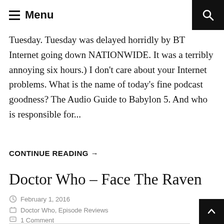Menu
Tuesday. Tuesday was delayed horridly by BT Internet going down NATIONWIDE. It was a terribly annoying six hours.) I don't care about your Internet problems. What is the name of today's fine podcast goodness? The Audio Guide to Babylon 5. And who is responsible for...
CONTINUE READING →
Doctor Who – Face The Raven
February 1, 2016
Doctor Who, Episode Reviews
1 Comment